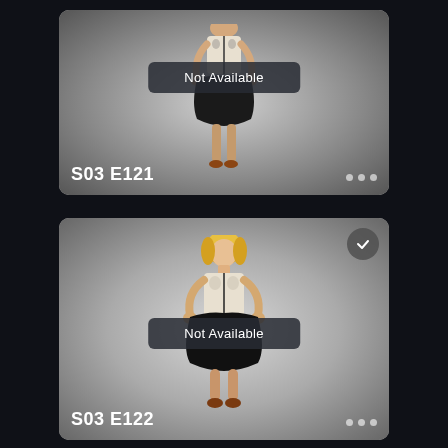[Figure (screenshot): TV/streaming app card for episode S03 E121 showing a woman in white corset and black skirt with a 'Not Available' banner overlay, three dots at bottom right]
S03 E121
[Figure (screenshot): TV/streaming app card for episode S03 E122 showing a blonde woman in white corset and black skirt with a 'Not Available' banner overlay, checkmark badge top right, three dots at bottom right]
S03 E122